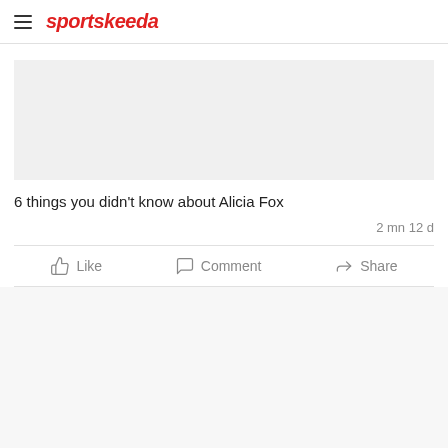sportskeeda
6 things you didn't know about Alicia Fox
2 mn 12 d